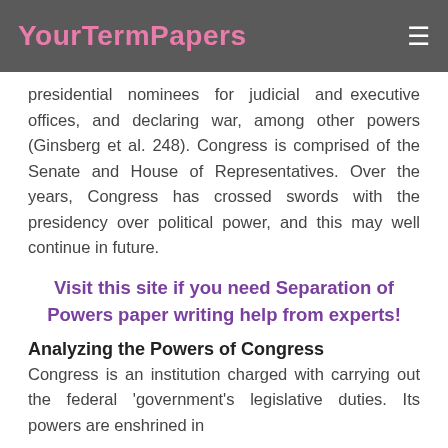YourTermPapers
presidential nominees for judicial and executive offices, and declaring war, among other powers (Ginsberg et al. 248). Congress is comprised of the Senate and House of Representatives. Over the years, Congress has crossed swords with the presidency over political power, and this may well continue in future.
Visit this site if you need Separation of Powers paper writing help from experts!
Analyzing the Powers of Congress
Congress is an institution charged with carrying out the federal 'government's legislative duties. Its powers are enshrined in